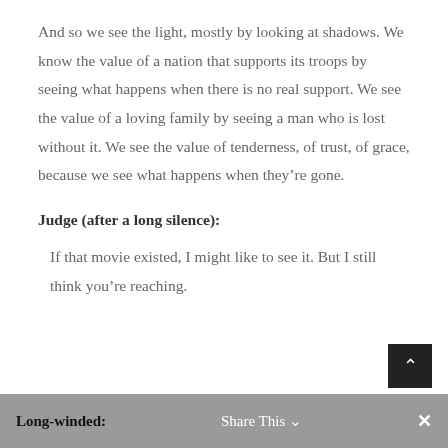And so we see the light, mostly by looking at shadows. We know the value of a nation that supports its troops by seeing what happens when there is no real support. We see the value of a loving family by seeing a man who is lost without it. We see the value of tenderness, of trust, of grace, because we see what happens when they're gone.
Judge (after a long silence):
If that movie existed, I might like to see it. But I still think you're reaching.
Long-winded:   Share This   ×